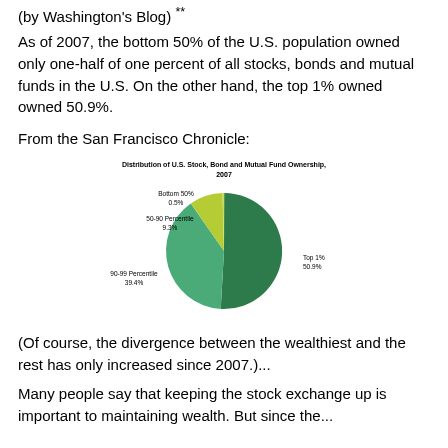(by Washington's Blog) **
As of 2007, the bottom 50% of the U.S. population owned only one-half of one percent of all stocks, bonds and mutual funds in the U.S. On the other hand, the top 1% owned owned 50.9%.
From the San Francisco Chronicle:
[Figure (pie-chart): Distribution of U.S. Stock, Bond and Mutual Fund Ownership, 2007]
(Of course, the divergence between the wealthiest and the rest has only increased since 2007.)...
Many people say that keeping the stock exchange up is important to maintaining wealth. But since the...